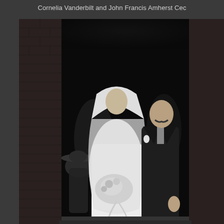Cornelia Vanderbilt and John Francis Amherst Cecil
[Figure (photo): Black and white wedding photograph of a bride in a white wedding dress and veil holding a large floral bouquet, walking arm in arm with a groom in a dark suit. They are exiting through a brick building doorway. Several other people, including a woman in a wide-brimmed hat, are visible in the background.]